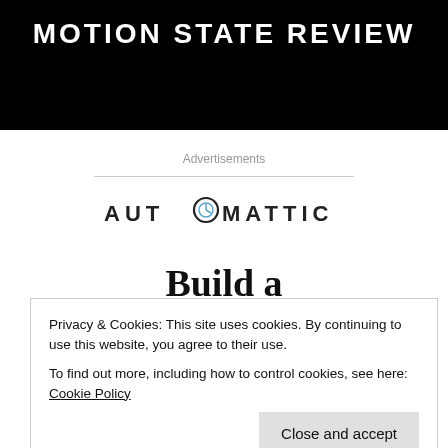MOTION STATE REVIEW
Advertisements
[Figure (logo): Automattic company logo with stylized compass 'O' in the word AUTOMATTIC]
Build a
Privacy & Cookies: This site uses cookies. By continuing to use this website, you agree to their use.
To find out more, including how to control cookies, see here: Cookie Policy
Close and accept
world.